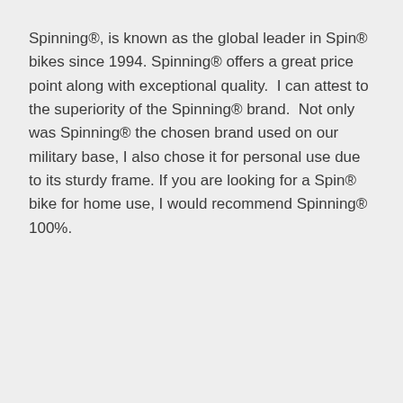Spinning®, is known as the global leader in Spin® bikes since 1994. Spinning® offers a great price point along with exceptional quality.  I can attest to the superiority of the Spinning® brand.  Not only was Spinning® the chosen brand used on our military base, I also chose it for personal use due to its sturdy frame. If you are looking for a Spin® bike for home use, I would recommend Spinning® 100%.